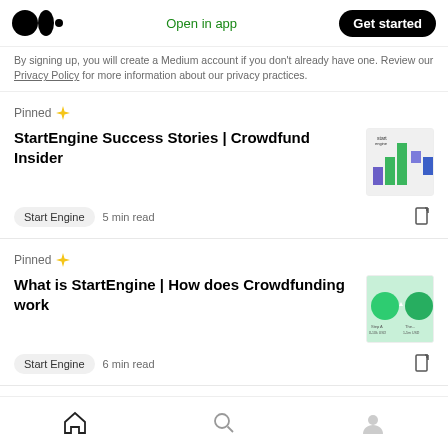Open in app | Get started
By signing up, you will create a Medium account if you don't already have one. Review our Privacy Policy for more information about our privacy practices.
Pinned
StartEngine Success Stories | Crowdfund Insider
Start Engine  5 min read
Pinned
What is StartEngine | How does Crowdfunding work
Start Engine  6 min read
Home  Search  Profile